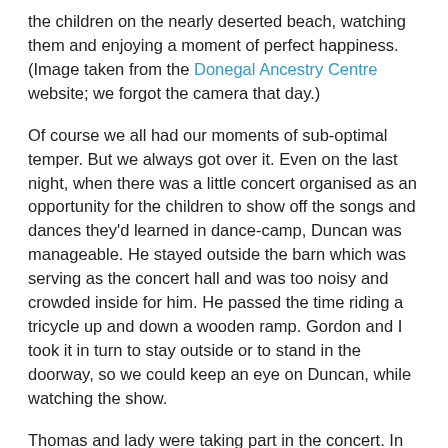the children on the nearly deserted beach, watching them and enjoying a moment of perfect happiness. (Image taken from the Donegal Ancestry Centre website; we forgot the camera that day.)
Of course we all had our moments of sub-optimal temper. But we always got over it. Even on the last night, when there was a little concert organised as an opportunity for the children to show off the songs and dances they'd learned in dance-camp, Duncan was manageable. He stayed outside the barn which was serving as the concert hall and was too noisy and crowded inside for him. He passed the time riding a tricycle up and down a wooden ramp. Gordon and I took it in turn to stay outside or to stand in the doorway, so we could keep an eye on Duncan, while watching the show.
Thomas and lady were taking part in the concert. In their first number, they were doing a wee dance. Thomas performed the whole thing with his back to the audience. It wasn't that he was shy, it just never seemed to occur to him to face us! He did better the next time (after I reminded him that we did want to see him!) and was so funny shaking his little booty.